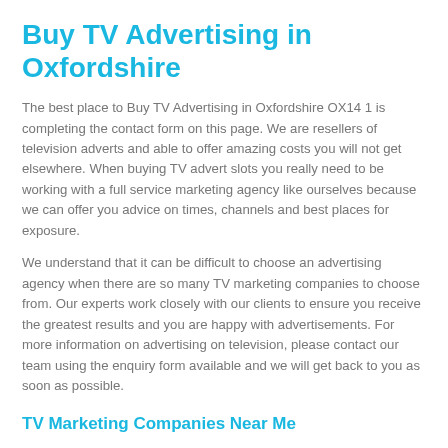Buy TV Advertising in Oxfordshire
The best place to Buy TV Advertising in Oxfordshire OX14 1 is completing the contact form on this page. We are resellers of television adverts and able to offer amazing costs you will not get elsewhere. When buying TV advert slots you really need to be working with a full service marketing agency like ourselves because we can offer you advice on times, channels and best places for exposure.
We understand that it can be difficult to choose an advertising agency when there are so many TV marketing companies to choose from. Our experts work closely with our clients to ensure you receive the greatest results and you are happy with advertisements. For more information on advertising on television, please contact our team using the enquiry form available and we will get back to you as soon as possible.
TV Marketing Companies Near Me